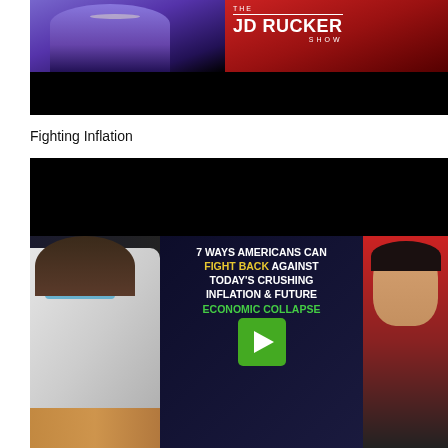[Figure (photo): Thumbnail image showing two people (a woman in purple/blue on the left, a man on the right) with 'THE JD RUCKER SHOW' branding overlay on red background. Lower portion is black.]
Fighting Inflation
[Figure (screenshot): Video thumbnail showing: a woman in a white coat wearing a blue face mask on the left, text overlay reading '7 WAYS AMERICANS CAN FIGHT BACK AGAINST TODAY'S CRUSHING INFLATION [AND] FUTURE ECONOMIC COLLAPSE' with 'FIGHT BACK' in yellow and 'ECONOMIC COLLAPSE' in green, a green play button in the center, and a man on the right side on a red/flag background.]